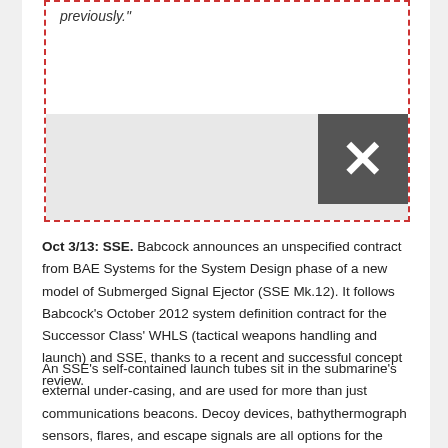previously.”
[Figure (screenshot): A grey area with a dark grey close/delete button (X icon) in the upper right, inside a dashed red border box.]
Oct 3/13: SSE. Babcock announces an unspecified contract from BAE Systems for the System Design phase of a new model of Submerged Signal Ejector (SSE Mk.12). It follows Babcock’s October 2012 system definition contract for the Successor Class’ WHLS (tactical weapons handling and launch) and SSE, thanks to a recent and successful concept review.
An SSE’s self-contained launch tubes sit in the submarine’s external under-casing, and are used for more than just communications beacons. Decoy devices, bathythermograph sensors, flares, and escape signals are all options for the SSE, hence Babcock’s description of it as a “first level system.” Babcock has extensive experience in SSE design and has been heavily involved in designing and making all UK SSE